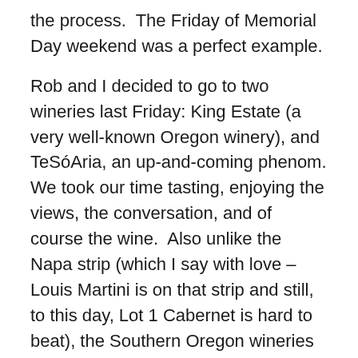the process.  The Friday of Memorial Day weekend was a perfect example.
Rob and I decided to go to two wineries last Friday: King Estate (a very well-known Oregon winery), and TeSóAria, an up-and-coming phenom. We took our time tasting, enjoying the views, the conversation, and of course the wine.  Also unlike the Napa strip (which I say with love – Louis Martini is on that strip and still, to this day, Lot 1 Cabernet is hard to beat), the Southern Oregon wineries are physically far apart from one another.  Kind of a blessing really, as it forces the legal limits and saves the wallet from purchasing cases of what-was-the-name-of-that-grape-again? slurred through wine stained lips.  So as we make the hour and a half trek over to TeSóAria, we knew we were pushing the 5:00 closing pour.